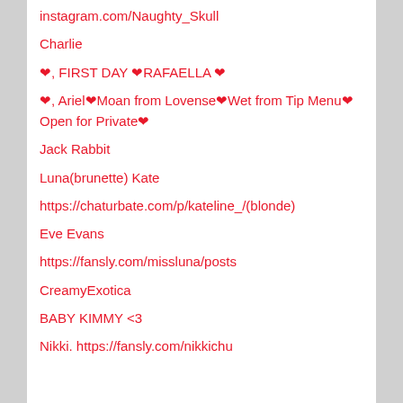instagram.com/Naughty_Skull
Charlie
❤, FIRST DAY ❤RAFAELLA ❤
❤, Ariel❤Moan from Lovense❤Wet from Tip Menu❤Open for Private❤
Jack Rabbit
Luna(brunette) Kate
https://chaturbate.com/p/kateline_/(blonde)
Eve Evans
https://fansly.com/missluna/posts
CreamyExotica
BABY KIMMY <3
Nikki. https://fansly.com/nikkichu